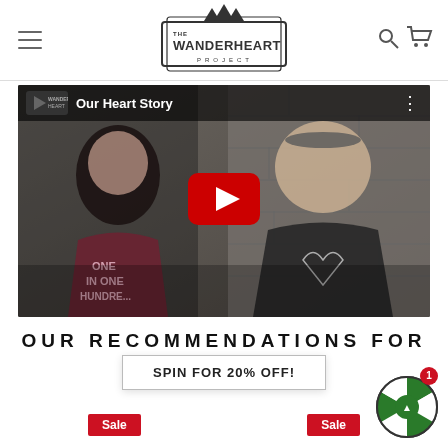The Wanderheart Project - navigation header with hamburger menu, logo, search and cart icons
[Figure (screenshot): YouTube embedded video thumbnail showing two people sitting in front of a stone fireplace. The woman on the left wears a maroon hoodie reading 'ONE IN ONE HUNDRED'. The man on the right wears a dark hoodie with a heart graphic. A red YouTube play button is centered on the video. The video title reads 'Our Heart Story' with a small Wanderheart channel logo in the top-left corner.]
OUR RECOMMENDATIONS FOR
SPIN FOR 20% OFF!
Sale
Sale